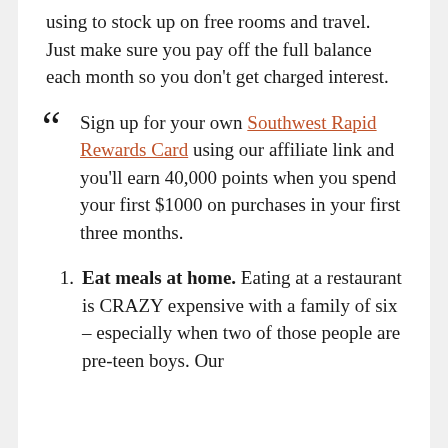using to stock up on free rooms and travel. Just make sure you pay off the full balance each month so you don't get charged interest.
Sign up for your own Southwest Rapid Rewards Card using our affiliate link and you'll earn 40,000 points when you spend your first $1000 on purchases in your first three months.
Eat meals at home. Eating at a restaurant is CRAZY expensive with a family of six – especially when two of those people are pre-teen boys. Our